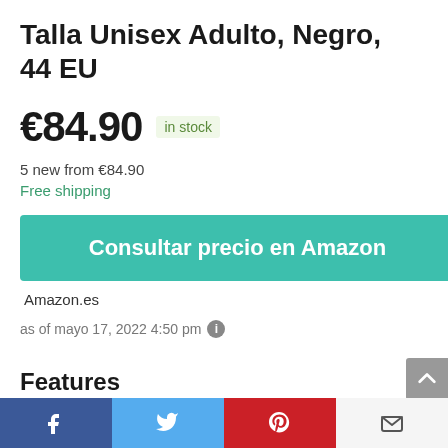Talla Unisex Adulto, Negro, 44 EU
€84.90 in stock
5 new from €84.90
Free shipping
Consultar precio en Amazon
Amazon.es
as of mayo 17, 2022 4:50 pm
Features
[Figure (infographic): Social sharing bar with Facebook, Twitter, Pinterest, and Email buttons]